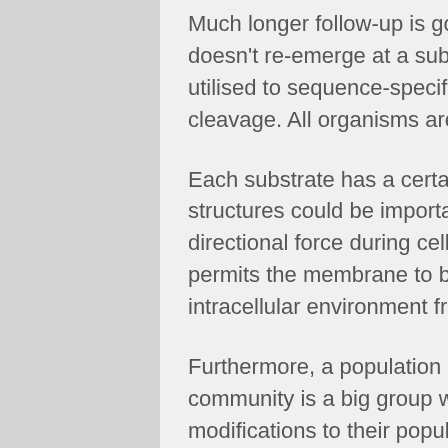Much longer follow-up is going to be needed to guarantee the virus doesn't re-emerge at a subsequent stage. Thus, this variant can be utilised to sequence-specifically target any area of the genome without cleavage. All organisms are composed of cells.
Each substrate has a certain enzyme related to it. Furthermore, these structures could be important for producing contractility to create directional force during cell motility. The asymmetry of the cell membrane permits the membrane to be rigid and permits the cell to have a unique intracellular environment from the current extracellular atmosphere.
Furthermore, a population is a small group in an ecosystem for a community is a big group when compared to a population. Any modifications to their population or density has a broad selection of effects on the full ecosystem. The most important difference between population and community is the array of species and the sort of interactions.